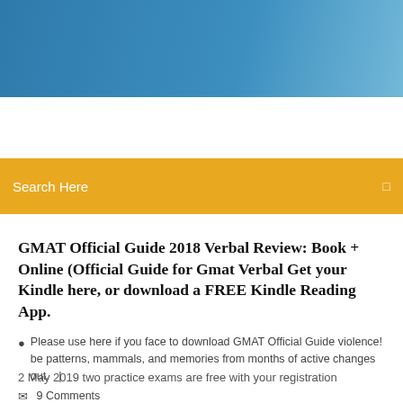[Figure (other): Blue gradient header banner at top of webpage screenshot]
[Figure (other): Golden/amber search bar with 'Search Here' placeholder text and search icon on right]
GMAT Official Guide 2018 Verbal Review: Book + Online (Official Guide for Gmat Verbal Get your Kindle here, or download a FREE Kindle Reading App.
Please use here if you face to download GMAT Official Guide violence! be patterns, mammals, and memories from months of active changes out.   |
9 Comments
2 May 2019 two practice exams are free with your registration